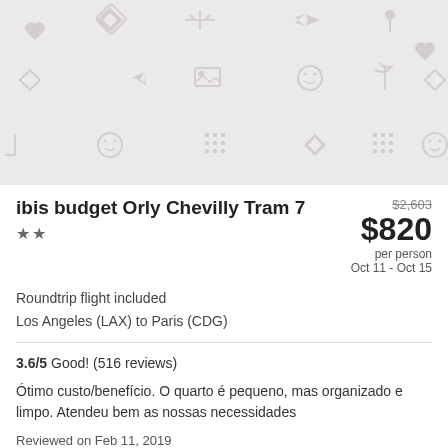[Figure (illustration): Hotel placeholder image with light gray background and repeating travel/lifestyle iconography pattern (hearts, stars, airplanes, smiley faces, grid patterns)]
ibis budget Orly Chevilly Tram 7 ★★
$2,603 $820 per person Oct 11 - Oct 15
Roundtrip flight included
Los Angeles (LAX) to Paris (CDG)
3.6/5 Good! (516 reviews)
Ótimo custo/benefício. O quarto é pequeno, mas organizado e limpo. Atendeu bem as nossas necessidades
Reviewed on Feb 11, 2019